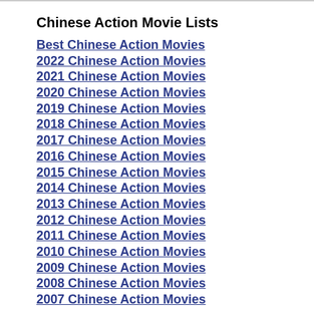Chinese Action Movie Lists
Best Chinese Action Movies
2022 Chinese Action Movies
2021 Chinese Action Movies
2020 Chinese Action Movies
2019 Chinese Action Movies
2018 Chinese Action Movies
2017 Chinese Action Movies
2016 Chinese Action Movies
2015 Chinese Action Movies
2014 Chinese Action Movies
2013 Chinese Action Movies
2012 Chinese Action Movies
2011 Chinese Action Movies
2010 Chinese Action Movies
2009 Chinese Action Movies
2008 Chinese Action Movies
2007 Chinese Action Movies